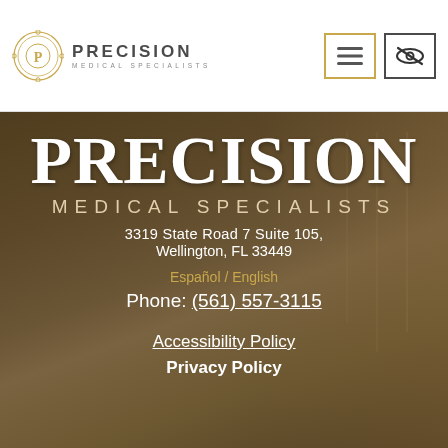[Figure (logo): Precision Medical Specialists logo with geometric circular emblem in gold and text 'PRECISION MEDICAL SPECIALISTS']
[Figure (screenshot): Navigation header buttons: hamburger menu button with gold border and accessibility/eye-slash icon button with dark border]
PRECISION MEDICAL SPECIALISTS
3319 State Road 7 Suite 105, Wellington, FL 33449
Español / English
Phone: (561) 557-3115
Accessibility Policy
Privacy Policy